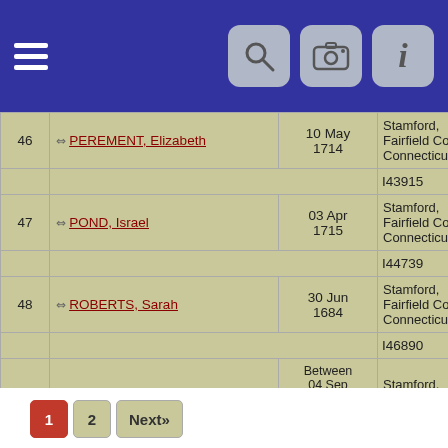| # | Name | Date | Place | ID |
| --- | --- | --- | --- | --- |
| 46 | PEREMENT, Elizabeth | 10 May 1714 | Stamford, Fairfield Co., Connecticut | I43915 |
| 47 | POND, Israel | 03 Apr 1715 | Stamford, Fairfield Co., Connecticut | I44739 |
| 48 | ROBERTS, Sarah | 30 Jun 1684 | Stamford, Fairfield Co., Connecticut | I46890 |
| 49 | SCOFIELD, Daniel | Between 04 Sep 1669 and 10 Feb 1670 | Stamford, Fairfield Co., Connecticut | I48601 |
| 50 | SCOFIELD, Nathan | 1786 | Stamford, Fairfield Co., Connecticut | I48667 |
1
2
Next»